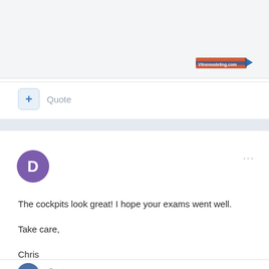[Figure (screenshot): Top portion of a forum post image area with a watermark badge reading 'Vlinemodeling.com @3655' in the bottom-right corner]
+ Quote
Dadeo911
Posted February 19, 2021
The cockpits look great!  I hope your exams went well.

Take care,

Chris
Quote